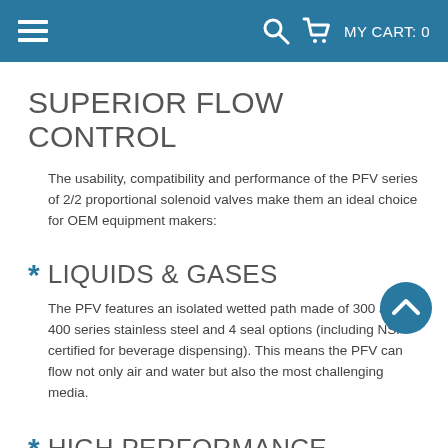MY CART: 0
SUPERIOR FLOW CONTROL
The usability, compatibility and performance of the PFV series of 2/2 proportional solenoid valves make them an ideal choice for OEM equipment makers:
* LIQUIDS & GASES
The PFV features an isolated wetted path made of 300 and 400 series stainless steel and 4 seal options (including NSF certified for beverage dispensing). This means the PFV can flow not only air and water but also the most challenging media.
* HIGH PERFORMANCE